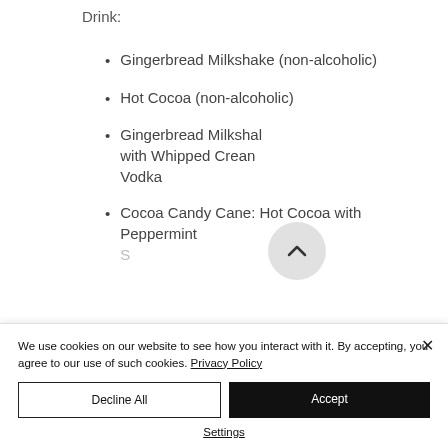Drink:
Gingerbread Milkshake (non-alcoholic)
Hot Cocoa (non-alcoholic)
Gingerbread Milkshake with Whipped Cream Vodka
Cocoa Candy Cane: Hot Cocoa with Peppermint Sch…
We use cookies on our website to see how you interact with it. By accepting, you agree to our use of such cookies. Privacy Policy
Decline All
Accept
Settings